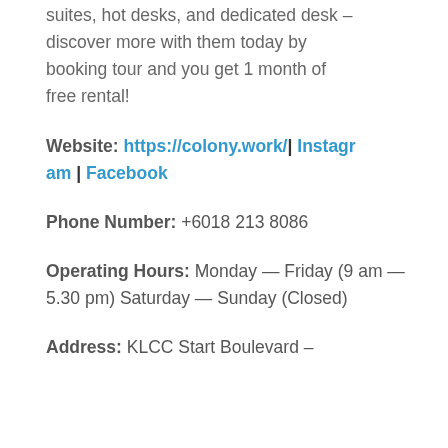suites, hot desks, and dedicated desk – discover more with them today by booking tour and you get 1 month of free rental!
Website: https://colony.work/| Instagram | Facebook
Phone Number: +6018 213 8086
Operating Hours: Monday — Friday (9 am — 5.30 pm) Saturday — Sunday (Closed)
Address: KLCC Start Boulevard –